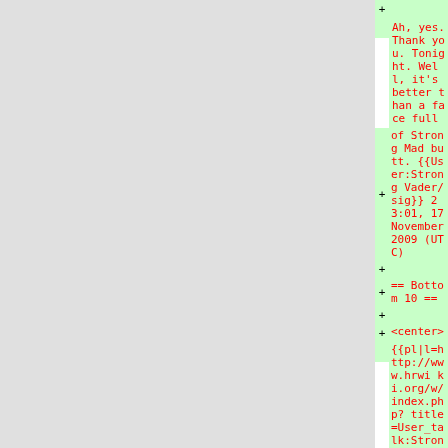+ [empty row]
Ah, yes. Thank you. Tonight. Well, it's better than a face full of Strong Mad butt. {{User:Strong Vader/sig}} 23:01, 17 November 2009 (UTC)
+ [empty row]
+== Bottom 10 ==
+ [empty row]
+<center>
{{pl|l=http://www.hrwiki.org/w/index.php?title=User_talk:Strong_Vader&action=edit&section=11 http://illiweb.com/fa/prosilver/button_topic_reply_en.png}}
+</center>
Howld you do the